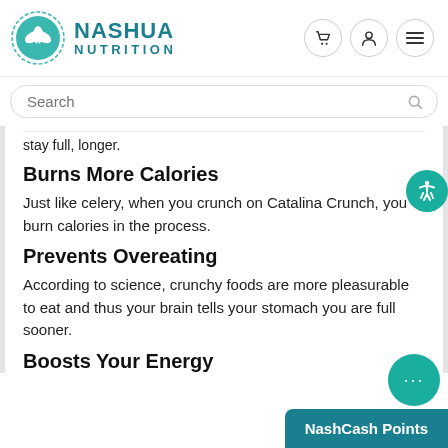[Figure (logo): Nashua Nutrition logo — teal circle with leaf icon and text NASHUA NUTRITION]
stay full, longer.
Burns More Calories
Just like celery, when you crunch on Catalina Crunch, you burn calories in the process.
Prevents Overeating
According to science, crunchy foods are more pleasurable to eat and thus your brain tells your stomach you are full sooner.
Boosts Your Energy